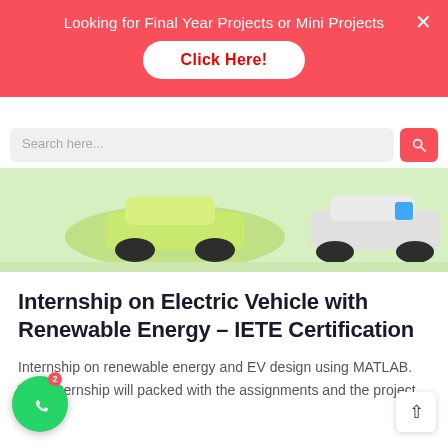Looking for Final Year Projects or Mini Projects
Click Here!
[Figure (illustration): Electric vehicle illustration on a light green background, showing car wheels and body outline with a blue charging element]
Internship on Electric Vehicle with Renewable Energy – IETE Certification
Internship on renewable energy and EV design using MATLAB. This internship will packed with the assignments and the project works.